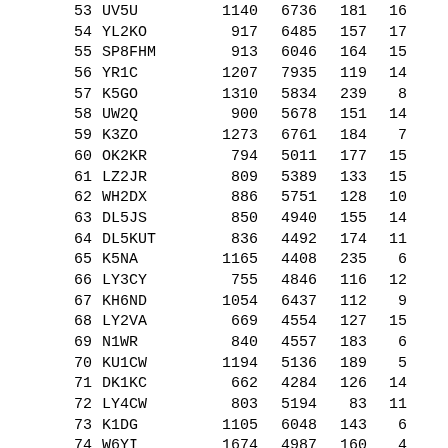| # | Call | Col3 | Col4 | Col5 | Col6 |
| --- | --- | --- | --- | --- | --- |
| 53 | UV5U | 1140 | 6736 | 181 | 16 |
| 54 | YL2KO | 917 | 6485 | 157 | 17 |
| 55 | SP8FHM | 913 | 6046 | 164 | 15 |
| 56 | YR1C | 1207 | 7935 | 119 | 14 |
| 57 | K5GO | 1310 | 5834 | 239 | 8 |
| 58 | UW2Q | 900 | 5678 | 151 | 14 |
| 59 | K3ZO | 1273 | 6761 | 184 | 7 |
| 60 | OK2KR | 794 | 5011 | 177 | 15 |
| 61 | LZ2JR | 809 | 5389 | 133 | 15 |
| 62 | WH2DX | 886 | 5751 | 128 | 10 |
| 63 | DL5JS | 850 | 4940 | 155 | 14 |
| 64 | DL5KUT | 836 | 4492 | 174 | 11 |
| 65 | K5NA | 1165 | 4408 | 235 | 6 |
| 66 | LY3CY | 755 | 4846 | 116 | 12 |
| 67 | KH6ND | 1054 | 6437 | 112 | 9 |
| 68 | LY2VA | 669 | 4554 | 127 | 15 |
| 69 | N1WR | 840 | 4557 | 183 | 6 |
| 70 | KU1CW | 1194 | 5136 | 189 | 5 |
| 71 | DK1KC | 662 | 4284 | 126 | 14 |
| 72 | LY4CW | 803 | 5194 | 83 | 11 |
| 73 | K1DG | 1105 | 6048 | 143 | 6 |
| 74 | W6YI | 1674 | 4987 | 160 | 4 |
| 75 | SV9COL | 773 | 4463 | 157 | 11 |
| 76 | UR5FEL | 637 | 4197 | 118 | 12 |
| 77 | N3BB | 1303 | 4356 | 193 | 3 |
| 78 | LY2BUU | 715 | 4345 | 116 | 12 |
| 79 | LY3X | 818 | 4954 | 101 | 12 |
| 80 | KG6DX | 727 | 4488 | 113 | 9 |
| 81 | U4ERT | 851 | 3405 | 137 |  |